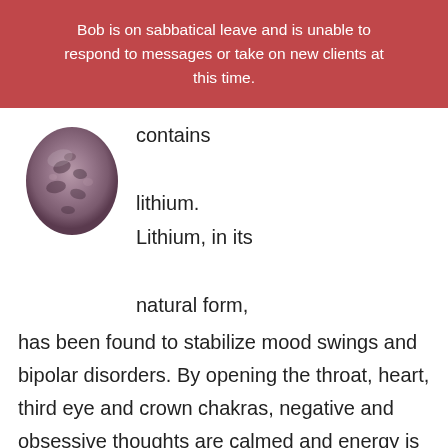Bob is on sabbatical leave and is unable to respond to messages or take on new clients at this time.
[Figure (photo): A small tumbled lepidolite stone with purple and gray mottled pattern]
contains lithium. Lithium, in its natural form, has been found to stabilize mood swings and bipolar disorders. By opening the throat, heart, third eye and crown chakras, negative and obsessive thoughts are calmed and energy is balanced. If you often feel disconnected, alone or confused, add Lepidolite to your daily meditation. You can find lepidolite here
Ti...